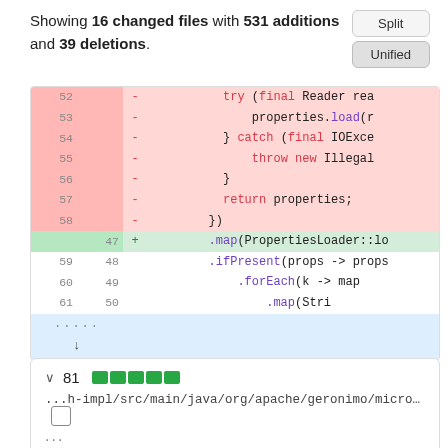Showing 16 changed files with 531 additions and 39 deletions.
[Figure (screenshot): GitHub diff view with Split and Unified buttons, code diff table showing deleted lines 52-58 (pink) with try/catch block, added line 47 (green) with .map(PropertiesLoader::lo, and context lines 59-61 (48-50) with .ifPresent, .forEach, .map calls, plus expand row at bottom]
[Figure (screenshot): File section header showing: v 81 with 5 green blocks, file path ...h-impl/src/main/java/org/apache/geronimo/micro... with copy icon, and ellipsis ...]